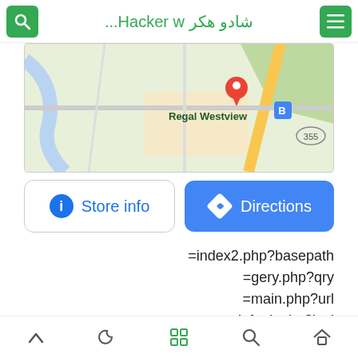شادو هكر Hacker w...
[Figure (map): Google Maps screenshot showing Regal Westview location with a red pin marker and road 355]
[Figure (screenshot): Store info and Directions buttons below the map]
=index2.php?basepath
=gery.php?qry
=main.php?url
=default.php?incl
=show.php?redirect
=index1.php?pre
Navigation bar with up, moon, grid, search, home icons